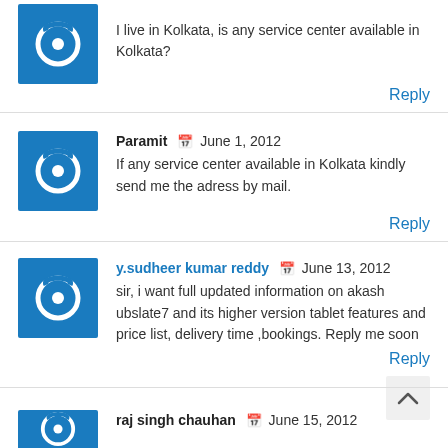I live in Kolkata, is any service center available in Kolkata?
Reply
Paramit  June 1, 2012
If any service center available in Kolkata kindly send me the adress by mail.
Reply
y.sudheer kumar reddy  June 13, 2012
sir, i want full updated information on akash ubslate7 and its higher version tablet features and price list, delivery time ,bookings. Reply me soon
Reply
raj singh chauhan  June 15, 2012